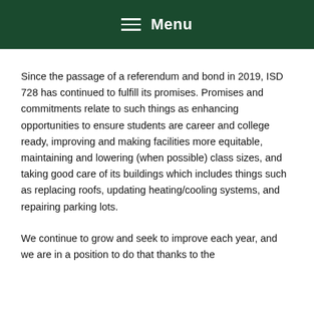Menu
Since the passage of a referendum and bond in 2019, ISD 728 has continued to fulfill its promises. Promises and commitments relate to such things as enhancing opportunities to ensure students are career and college ready, improving and making facilities more equitable, maintaining and lowering (when possible) class sizes, and taking good care of its buildings which includes things such as replacing roofs, updating heating/cooling systems, and repairing parking lots.
We continue to grow and seek to improve each year, and we are in a position to do that thanks to the